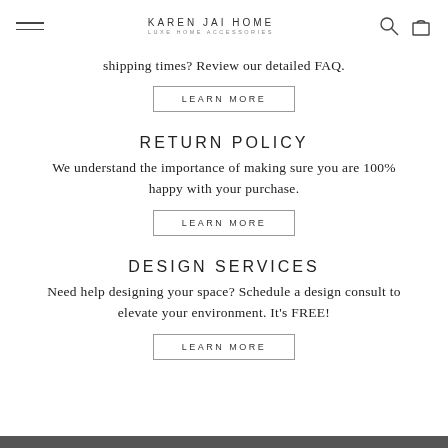KAREN JAI HOME LUXE HOME ACCESSORIES
shipping times? Review our detailed FAQ.
LEARN MORE
RETURN POLICY
We understand the importance of making sure you are 100% happy with your purchase.
LEARN MORE
DESIGN SERVICES
Need help designing your space? Schedule a design consult to elevate your environment. It's FREE!
LEARN MORE